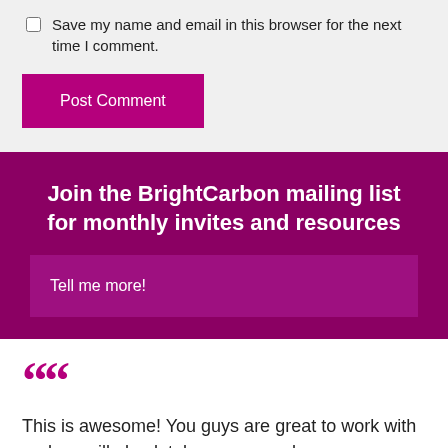Save my name and email in this browser for the next time I comment.
Post Comment
Join the BrightCarbon mailing list for monthly invites and resources
Tell me more!
““
This is awesome! You guys are great to work with and we will absolutely recommend you